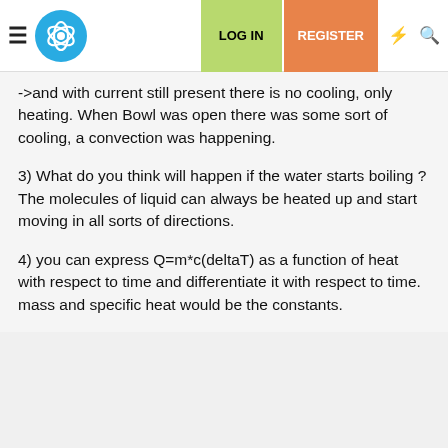LOG IN | REGISTER
->and with current still present there is no cooling, only heating. When Bowl was open there was some sort of cooling, a convection was happening.
3) What do you think will happen if the water starts boiling ? The molecules of liquid can always be heated up and start moving in all sorts of directions.
4) you can express Q=m*c(deltaT) as a function of heat with respect to time and differentiate it with respect to time. mass and specific heat would be the constants.